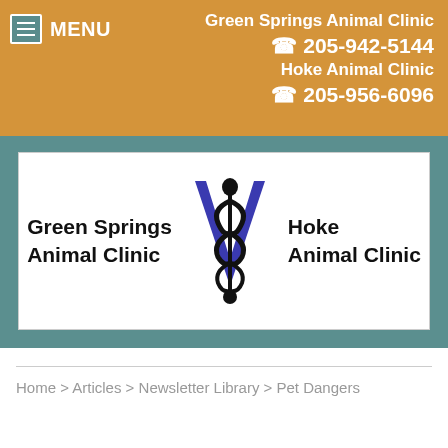MENU | Green Springs Animal Clinic 205-942-5144 | Hoke Animal Clinic 205-956-6096
[Figure (logo): Green Springs Animal Clinic and Hoke Animal Clinic combined logo with veterinary caduceus/rod of Asclepius symbol and blue V shape]
Home > Articles > Newsletter Library > Pet Dangers